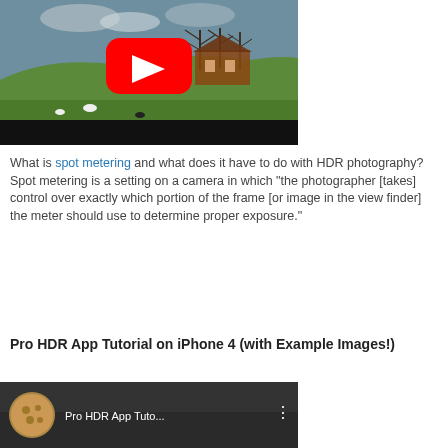[Figure (screenshot): YouTube video thumbnail showing a green hillside landscape with a house, trees, and animals, with a red YouTube play button overlay and black bar at bottom]
What is spot metering and what does it have to do with HDR photography?
Spot metering is a setting on a camera in which "the photographer [takes] control over exactly which portion of the frame [or image in the view finder] the meter should use to determine proper exposure."
Pro HDR App Tutorial on iPhone 4 (with Example Images!)
[Figure (screenshot): YouTube video thumbnail showing Pro HDR App Tutorial with a leopard/cat thumbnail icon and video title text]